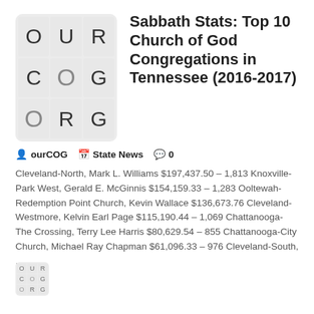[Figure (logo): OurCOG logo grid with letters O, U, R, C, O, G, O, R, G in a 3x3 grid on a light gray background]
Sabbath Stats: Top 10 Church of God Congregations in Tennessee (2016-2017)
ourCOG   State News   0
Cleveland-North, Mark L. Williams $197,437.50 – 1,813 Knoxville-Park West, Gerald E. McGinnis $154,159.33 – 1,283 Ooltewah-Redemption Point Church, Kevin Wallace $136,673.76 Cleveland-Westmore, Kelvin Earl Page $115,190.44 – 1,069 Chattanooga-The Crossing, Terry Lee Harris $80,629.54 – 855 Chattanooga-City Church, Michael Ray Chapman $61,096.33 – 976 Cleveland-South, ...
»